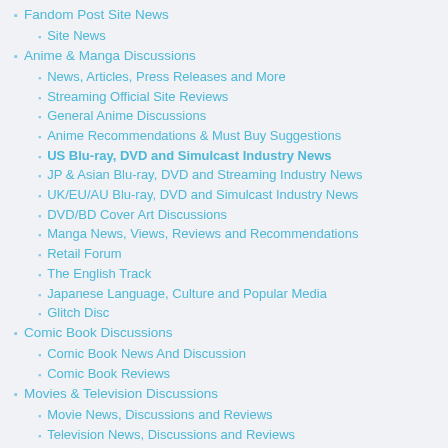Fandom Post Site News
Site News
Anime & Manga Discussions
News, Articles, Press Releases and More
Streaming Official Site Reviews
General Anime Discussions
Anime Recommendations & Must Buy Suggestions
US Blu-ray, DVD and Simulcast Industry News
JP & Asian Blu-ray, DVD and Streaming Industry News
UK/EU/AU Blu-ray, DVD and Simulcast Industry News
DVD/BD Cover Art Discussions
Manga News, Views, Reviews and Recommendations
Retail Forum
The English Track
Japanese Language, Culture and Popular Media
Glitch Disc
Comic Book Discussions
Comic Book News And Discussion
Comic Book Reviews
Movies & Television Discussions
Movie News, Discussions and Reviews
Television News, Discussions and Reviews
Lifestyle Discussions
Sandbox Forum
Questioning Fandom
Novels News, Reviews, and Discussions
Gaming Goodness
Conventions & Site Gatherings
Home Theater Discussions